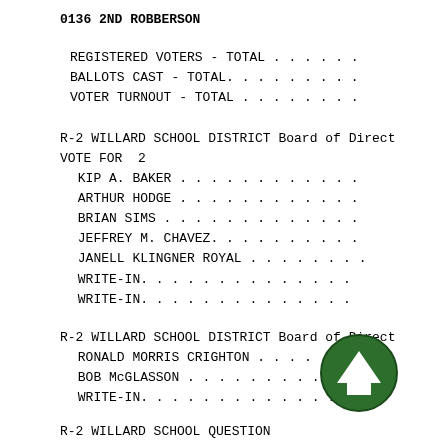0136 2ND ROBBERSON
REGISTERED VOTERS - TOTAL . . . . . .
BALLOTS CAST - TOTAL. . . . . . . . .
VOTER TURNOUT - TOTAL . . . . . . . .
R-2 WILLARD SCHOOL DISTRICT Board of Direct
VOTE FOR  2
KIP A. BAKER . . . . . . . . . . . .
ARTHUR HODGE . . . . . . . . . . . .
BRIAN SIMS . . . . . . . . . . . . .
JEFFREY M. CHAVEZ. . . . . . . . . .
JANELL KLINGNER ROYAL . . . . . . . .
WRITE-IN. . . . . . . . . . . . . .
WRITE-IN. . . . . . . . . . . . . .
R-2 WILLARD SCHOOL DISTRICT Board of Direct
RONALD MORRIS CRIGHTON . . . . . . .
BOB McGLASSON . . . . . . . . . . .
WRITE-IN. . . . . . . . . . . . . .
R-2 WILLARD SCHOOL QUESTION
[Figure (illustration): Green circular scroll-up arrow button icon overlaid on the document]